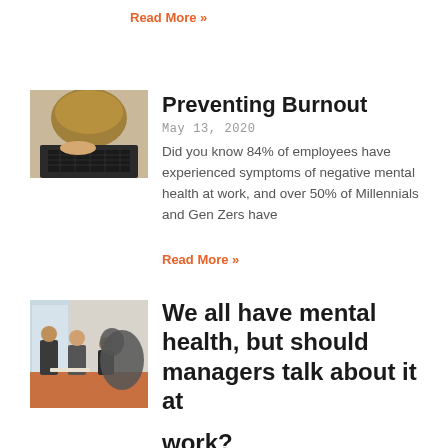Read More »
[Figure (photo): Person with head down on a laptop keyboard, viewed from above]
Preventing Burnout
May 13, 2020
Did you know 84% of employees have experienced symptoms of negative mental health at work, and over 50% of Millennials and Gen Zers have
Read More »
[Figure (photo): People in a business meeting around a table]
We all have mental health, but should managers talk about it at work?